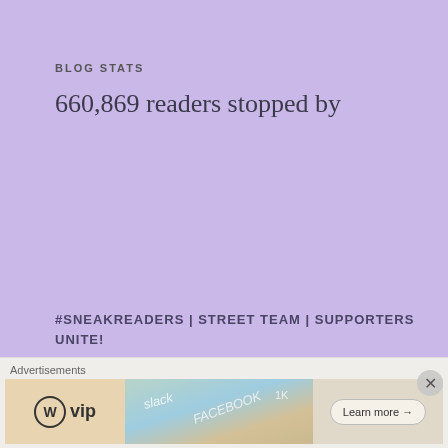BLOG STATS
660,869 readers stopped by
#SNEAKREADERS | STREET TEAM | SUPPORTERS UNITE!
[Figure (photo): Facebook banner with a person wearing glasses in the center and Facebook 'f' logos on left and right sides]
Advertisements
[Figure (screenshot): WordPress VIP advertisement banner with Learn more button]